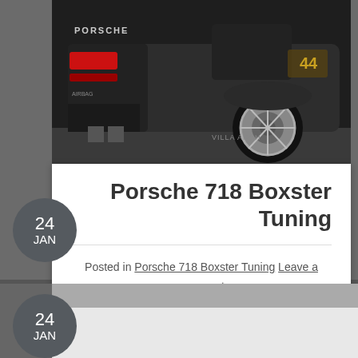[Figure (photo): Dark modified Porsche car shot from rear quarter angle, showing wide body kit, large wheels, and racing number 44, red tail lights visible]
Porsche 718 Boxster Tuning
Posted in Porsche 718 Boxster Tuning Leave a comment
[Figure (photo): Second car photo - partial view of another vehicle, grey tones, date badge showing 24 JAN]